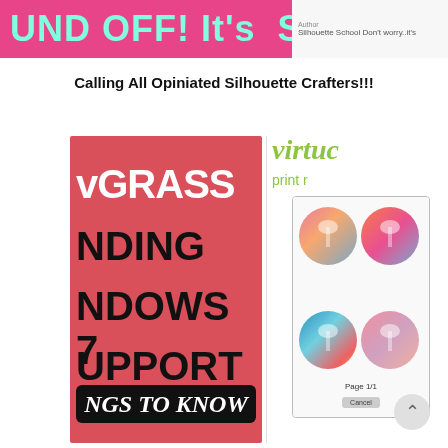[Figure (screenshot): Top banner screenshot showing pink background with teal/cyan text 'UND OFF! It's SURVEY TI' and right side showing author info 'Silhouette School Don't worry..it's']
Calling All Opiniated Silhouette Crafters!!!
[Figure (screenshot): Left image: red card with white and black bold text showing 'vGRASS', 'NDING', 'NDOWS 7', 'UPPORT', and bottom black rounded rectangle with italic text 'NGS TO KNOW']
[Figure (screenshot): Right image: virtual print preview interface showing 'virtu' in green serif italic, 'print r' subtitle, a device screen with 4 colorful circular designs with palm trees, page label '6.403 in', 'Page 1/1', and Cancel button]